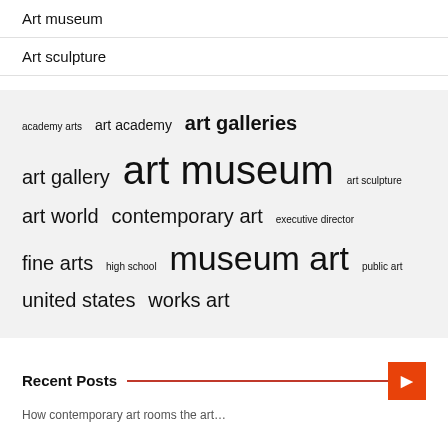Art museum
Art sculpture
[Figure (infographic): Tag cloud with terms: academy arts, art academy, art galleries, art gallery, art museum (largest), art sculpture, art world, contemporary art, executive director, fine arts, high school, museum art, public art, united states, works art]
Recent Posts